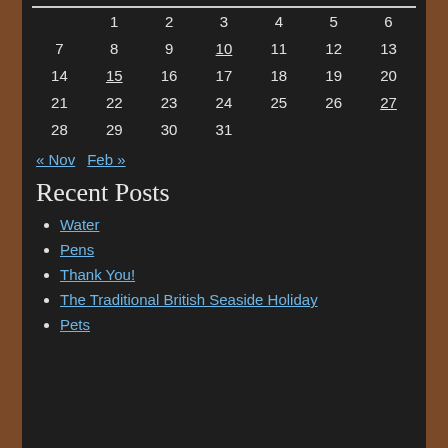| 1 | 2 | 3 | 4 | 5 | 6 |
| 7 | 8 | 9 | 10 | 11 | 12 | 13 |
| 14 | 15 | 16 | 17 | 18 | 19 | 20 |
| 21 | 22 | 23 | 24 | 25 | 26 | 27 |
| 28 | 29 | 30 | 31 |  |  |  |
« Nov   Feb »
Recent Posts
Water
Pens
Thank You!
The Traditional British Seaside Holiday
Pets